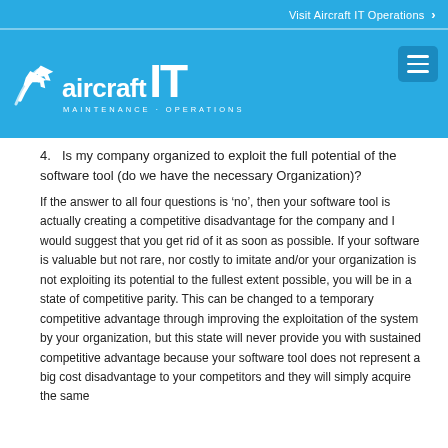Visit Aircraft IT Operations >
[Figure (logo): Aircraft IT Maintenance - Operations logo on blue background with hamburger menu icon]
4. Is my company organized to exploit the full potential of the software tool (do we have the necessary Organization)?
If the answer to all four questions is 'no', then your software tool is actually creating a competitive disadvantage for the company and I would suggest that you get rid of it as soon as possible. If your software is valuable but not rare, nor costly to imitate and/or your organization is not exploiting its potential to the fullest extent possible, you will be in a state of competitive parity. This can be changed to a temporary competitive advantage through improving the exploitation of the system by your organization, but this state will never provide you with sustained competitive advantage because your software tool does not represent a big cost disadvantage to your competitors and they will simply acquire the same